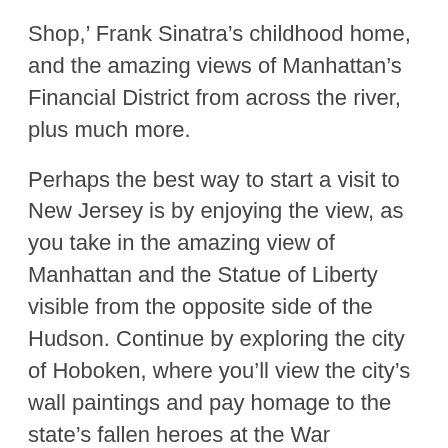Shop,' Frank Sinatra's childhood home, and the amazing views of Manhattan's Financial District from across the river, plus much more.
Perhaps the best way to start a visit to New Jersey is by enjoying the view, as you take in the amazing view of Manhattan and the Statue of Liberty visible from the opposite side of the Hudson. Continue by exploring the city of Hoboken, where you'll view the city's wall paintings and pay homage to the state's fallen heroes at the War Memorial. You'll also get a glimpse of the early days of Frank Sinatra during a stop at his childhood Jersey home. If you like desserts, you're in for a treat thanks to your next stop at the bakery of 'Cake Boss' star Buddy on Washington Street. Finish off the day by visiting the sober